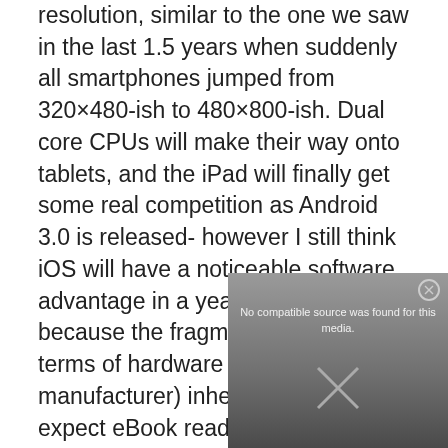resolution, similar to the one we saw in the last 1.5 years when suddenly all smartphones jumped from 320×480-ish to 480×800-ish. Dual core CPUs will make their way onto tablets, and the iPad will finally get some real competition as Android 3.0 is released- however I still think iOS will have a noticeable software advantage in a year as well, simply because the fragmentation (both in terms of hardware and manufacturer) inherent in Android. I expect eBook readers will hit the magic $99 price point and become stocking fillers next Christmas, which is of course a good thing. I also think that netbooks will become less popular as the price of tablets and ultra portable laptops start giving them some real heat. Either way, it is sure to be a fun year!
[Figure (screenshot): Video player overlay showing 'No compatible source was found for this media.' error message with a close (X) button in the top right corner and a large X/close icon in the center.]